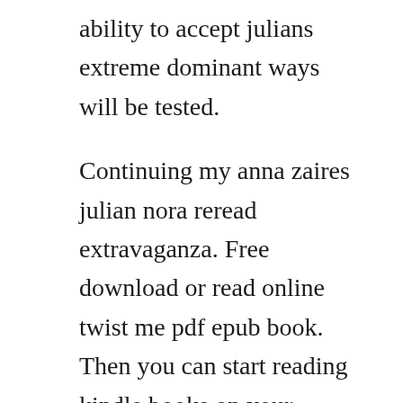ability to accept julians extreme dominant ways will be tested.
Continuing my anna zaires julian nora reread extravaganza. Free download or read online twist me pdf epub book. Then you can start reading kindle books on your smartphone, tablet, or computer no kindle device. The only negative i have in regard to this particular series has to do with allusions made towards the series twist me which was released in 2015 about the aforementioned drug lord and his teenage wife whom he kidnapped and the